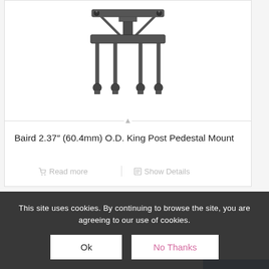[Figure (photo): Product photo of Baird 2.37 inch (60.4mm) O.D. King Post Pedestal Mount — a metal mounting bracket with legs on a platform]
Baird 2.37″ (60.4mm) O.D. King Post Pedestal Mount
Read more
Show Details
USD
AUD
[Figure (photo): Partial view of a second product — a cylindrical metal post/pin]
This site uses cookies. By continuing to browse the site, you are agreeing to our use of cookies.
Ok
No Thanks